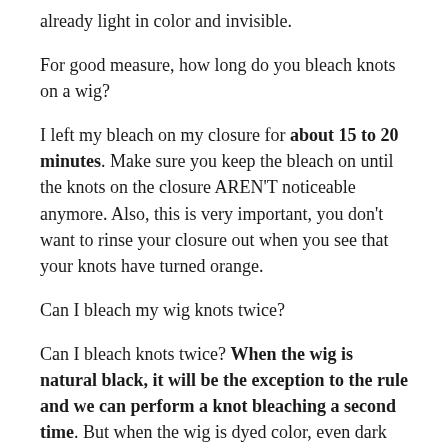already light in color and invisible.
For good measure, how long do you bleach knots on a wig?
I left my bleach on my closure for about 15 to 20 minutes. Make sure you keep the bleach on until the knots on the closure AREN'T noticeable anymore. Also, this is very important, you don't want to rinse your closure out when you see that your knots have turned orange.
Can I bleach my wig knots twice?
Can I bleach knots twice? When the wig is natural black, it will be the exception to the rule and we can perform a knot bleaching a second time. But when the wig is dyed color, even dark color, we will not be able to bleach knots again. It is only possible to do it once.